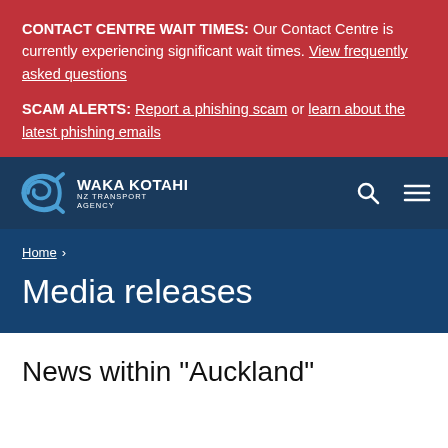CONTACT CENTRE WAIT TIMES: Our Contact Centre is currently experiencing significant wait times. View frequently asked questions
SCAM ALERTS: Report a phishing scam or learn about the latest phishing emails
[Figure (logo): Waka Kotahi NZ Transport Agency logo - white on dark blue background with navigation icons]
Home >
Media releases
News within "Auckland"